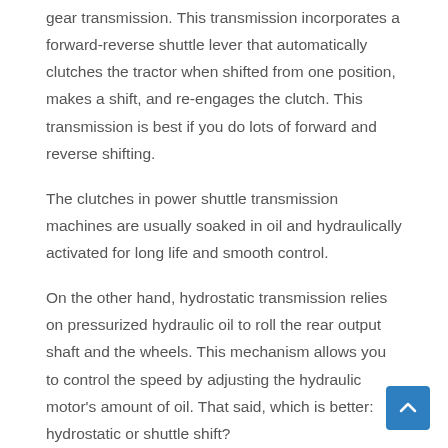gear transmission. This transmission incorporates a forward-reverse shuttle lever that automatically clutches the tractor when shifted from one position, makes a shift, and re-engages the clutch. This transmission is best if you do lots of forward and reverse shifting.
The clutches in power shuttle transmission machines are usually soaked in oil and hydraulically activated for long life and smooth control.
On the other hand, hydrostatic transmission relies on pressurized hydraulic oil to roll the rear output shaft and the wheels. This mechanism allows you to control the speed by adjusting the hydraulic motor's amount of oil. That said, which is better: hydrostatic or shuttle shift?
Ideally, hydrostatic is better than shuttle shift because of the s... slick operation. However, this transmission system needs a high